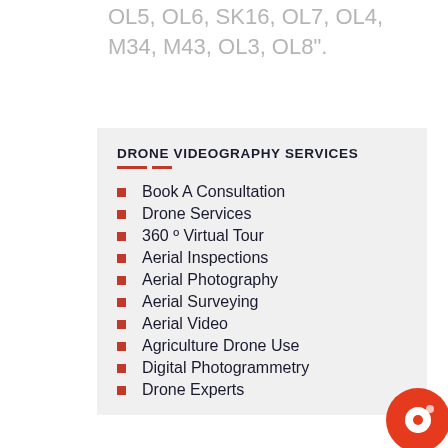OL5, OL6, SK16, OL7, OL4, M34, M43, OL3, OL8".
DRONE VIDEOGRAPHY SERVICES
Book A Consultation
Drone Services
360 º Virtual Tour
Aerial Inspections
Aerial Photography
Aerial Surveying
Aerial Video
Agriculture Drone Use
Digital Photogrammetry
Drone Experts